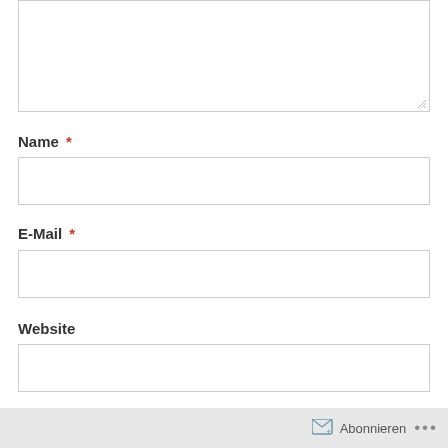[Figure (screenshot): Textarea form field (empty) at top of page]
Name *
[Figure (screenshot): Name input field (empty text box)]
E-Mail *
[Figure (screenshot): E-Mail input field (empty text box)]
Website
[Figure (screenshot): Website input field (empty text box)]
Meinen Namen, E-Mail und Website in diesem Browser speichern.
Abonnieren ...